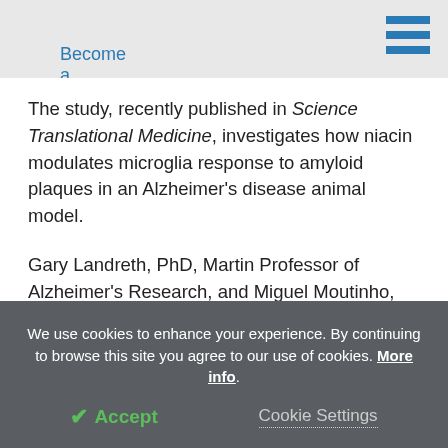Become a Member
The study, recently published in Science Translational Medicine, investigates how niacin modulates microglia response to amyloid plaques in an Alzheimer's disease animal model.
Gary Landreth, PhD, Martin Professor of Alzheimer's Research, and Miguel Moutinho, PhD, a postdoctoral fellow in Anatomy, Cell Biology and Physiology, led the study.
We use cookies to enhance your experience. By continuing to browse this site you agree to our use of cookies. More info.
✓ Accept   Cookie Settings